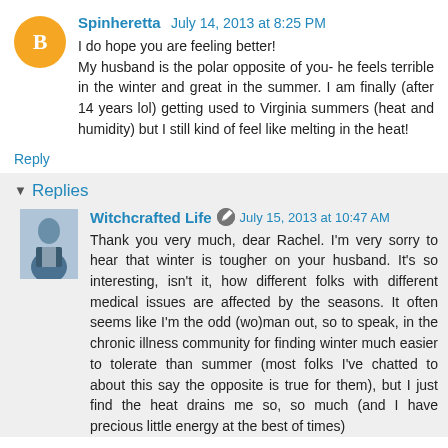Spinheretta  July 14, 2013 at 8:25 PM
I do hope you are feeling better! My husband is the polar opposite of you- he feels terrible in the winter and great in the summer. I am finally (after 14 years lol) getting used to Virginia summers (heat and humidity) but I still kind of feel like melting in the heat!
Reply
▼ Replies
Witchcrafted Life  July 15, 2013 at 10:47 AM
Thank you very much, dear Rachel. I'm very sorry to hear that winter is tougher on your husband. It's so interesting, isn't it, how different folks with different medical issues are affected by the seasons. It often seems like I'm the odd (wo)man out, so to speak, in the chronic illness community for finding winter much easier to tolerate than summer (most folks I've chatted to about this say the opposite is true for them), but I just find the heat drains me so, so much (and I have precious little energy at the best of times)